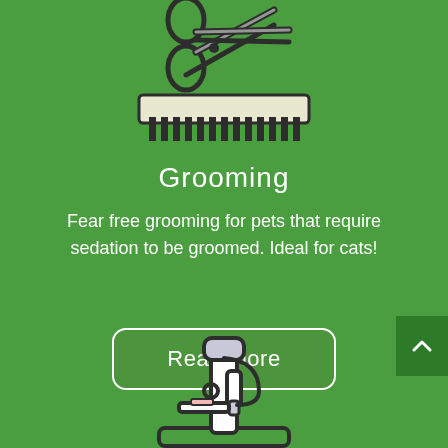[Figure (illustration): Scissors and comb grooming icons on green background]
Grooming
Fear free grooming for pets that require sedation to be groomed. Ideal for cats!
Read more
[Figure (illustration): Microscope icon on green background, partially visible at bottom]